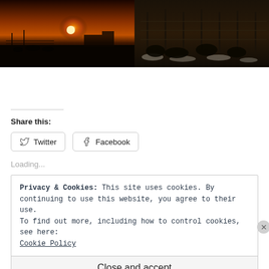[Figure (photo): Two side-by-side dark outdoor photographs; left shows a sunset over what appears to be a farm/feedlot with silhouetted structures and a bright orange sun; right shows a dark nighttime or low-light scene with fence structures and snow or frost on the ground.]
Share this:
Twitter  Facebook
Loading...
Privacy & Cookies: This site uses cookies. By continuing to use this website, you agree to their use.
To find out more, including how to control cookies, see here:
Cookie Policy
Close and accept